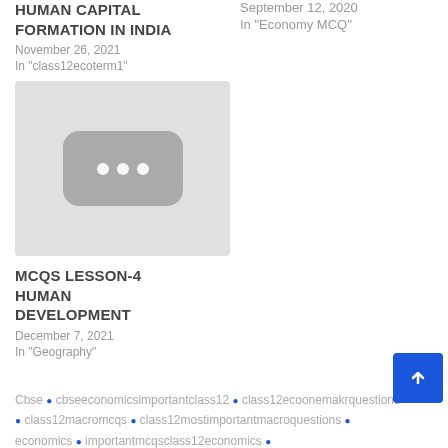HUMAN CAPITAL FORMATION IN INDIA
November 26, 2021
In "class12ecoterm1"
September 12, 2020
In "Economy MCQ"
[Figure (other): Placeholder thumbnail image with three dots]
MCQs LESSON-4 HUMAN DEVELOPMENT
December 7, 2021
In "Geography"
Cbse • cbseeconomicsimportantclass12 • class12ecoonemakrquestions • class12macromcqs • class12mostimportantmacroquestions • economics • importantmcqsclass12economics •